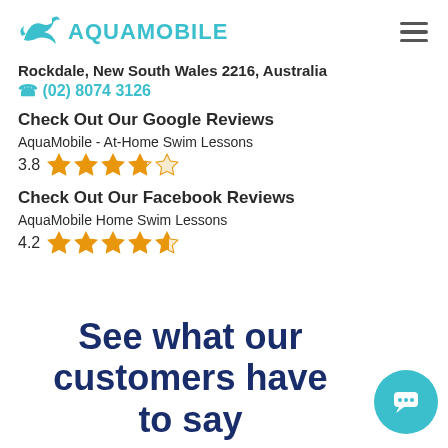AQUAMOBILE
Rockdale, New South Wales 2216, Australia
(02) 8074 3126
Check Out Our Google Reviews
AquaMobile - At-Home Swim Lessons
3.8
Check Out Our Facebook Reviews
AquaMobile Home Swim Lessons
4.2
See what our customers have to say